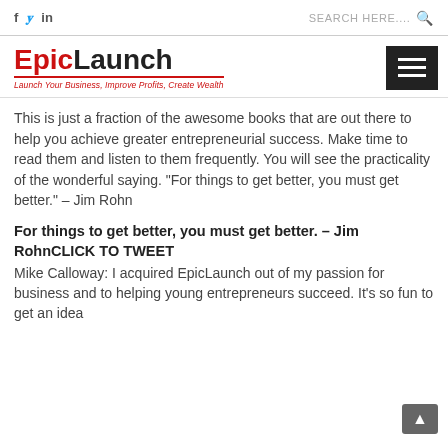f  y  in   SEARCH HERE....
[Figure (logo): EpicLaunch logo with tagline 'Launch Your Business, Improve Profits, Create Wealth' and hamburger menu icon]
This is just a fraction of the awesome books that are out there to help you achieve greater entrepreneurial success. Make time to read them and listen to them frequently. You will see the practicality of the wonderful saying. “For things to get better, you must get better.” – Jim Rohn
For things to get better, you must get better. – Jim RohnCLICK TO TWEET
Mike Calloway: I acquired EpicLaunch out of my passion for business and to helping young entrepreneurs succeed. It’s so fun to get an idea